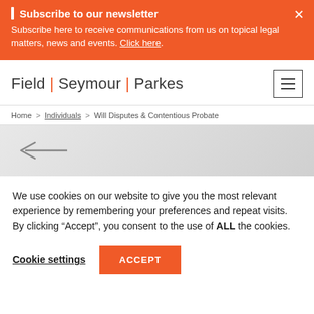Subscribe to our newsletter — Subscribe here to receive communications from us on topical legal matters, news and events. Click here.
[Figure (logo): Field | Seymour | Parkes law firm logo with orange pipe separators]
Home > Individuals > Will Disputes & Contentious Probate
[Figure (other): Grey banner with back arrow (left-pointing arrow)]
We use cookies on our website to give you the most relevant experience by remembering your preferences and repeat visits. By clicking "Accept", you consent to the use of ALL the cookies.
Cookie settings   ACCEPT